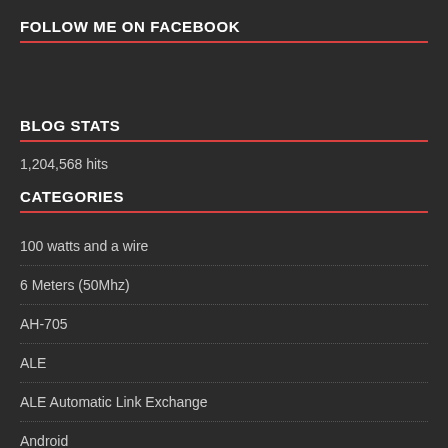FOLLOW ME ON FACEBOOK
BLOG STATS
1,204,568 hits
CATEGORIES
100 watts and a wire
6 Meters (50Mhz)
AH-705
ALE
ALE Automatic Link Exchange
Android
Antenna support